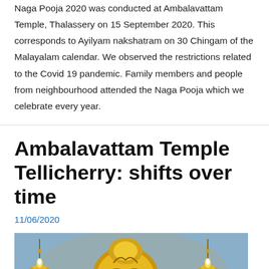Naga Pooja 2020 was conducted at Ambalavattam Temple, Thalassery on 15 September 2020. This corresponds to Ayilyam nakshatram on 30 Chingam of the Malayalam calendar. We observed the restrictions related to the Covid 19 pandemic. Family members and people from neighbourhood attended the Naga Pooja which we celebrate every year.
Ambalavattam Temple Tellicherry: shifts over time
11/06/2020
[Figure (photo): Decorative golden temple lamp (nilavilakku) with ornate design, photographed in warm light against a blue background]